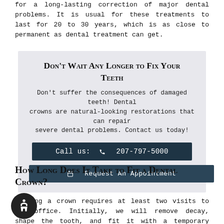for a long-lasting correction of major dental problems. It is usual for these treatments to last for 20 to 30 years, which is as close to permanent as dental treatment can get.
DON'T WAIT ANY LONGER TO FIX YOUR TEETH
Don't suffer the consequences of damaged teeth! Dental crowns are natural-looking restorations that can repair severe dental problems. Contact us today!
Call us: 📞 207-797-5000
📅 Request An Appointment
HOW LONG DOES IT TAKE TO FIT A DENTAL CROWN?
Fitting a crown requires at least two visits to our office. Initially, we will remove decay, shape the tooth, and fit it with a temporary crown of either plastic or metal.